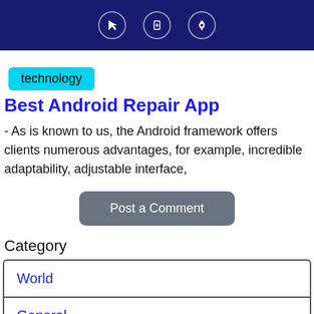[Figure (screenshot): Dark navy header bar with three circular icon buttons (cursor, battery/card, rocket) centered on it]
technology
Best Android Repair App
- As is known to us, the Android framework offers clients numerous advantages, for example, incredible adaptability, adjustable interface,
Post a Comment
Category
World
General
Business